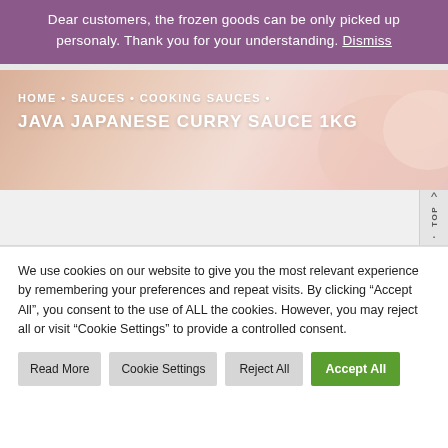Dear customers, the frozen goods can be only picked up personaly. Thank you for your understanding. Dismiss
[Figure (photo): Breadcrumb banner with soft pink/peach food background image]
HOME • SAUCES • COOKING SAUCES • JAVA JAPANESE CURRY SAUCE 1KG
We use cookies on our website to give you the most relevant experience by remembering your preferences and repeat visits. By clicking "Accept All", you consent to the use of ALL the cookies. However, you may reject all or visit "Cookie Settings" to provide a controlled consent.
Read More
Cookie Settings
Reject All
Accept All